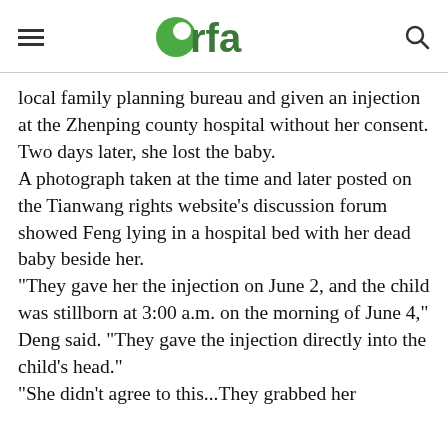rfa (Radio Free Asia logo)
local family planning bureau and given an injection at the Zhenping county hospital without her consent. Two days later, she lost the baby.
A photograph taken at the time and later posted on the Tianwang rights website's discussion forum showed Feng lying in a hospital bed with her dead baby beside her.
"They gave her the injection on June 2, and the child was stillborn at 3:00 a.m. on the morning of June 4," Deng said. "They gave the injection directly into the child's head."
"She didn't agree to this...They grabbed her